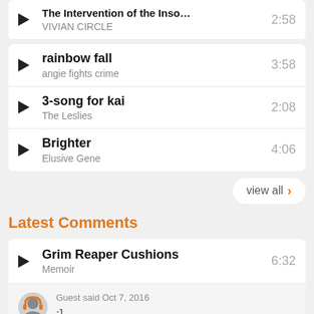The Intervention of the Insomniac... VIVIAN CIRCLE 2:58
rainbow fall - angie fights crime 3:58
3-song for kai - The Leslies 2:08
Brighter - Elusive Gene 4:06
view all >
Latest Comments
Grim Reaper Cushions - Memoir 6:32
Guest said Oct 7, 2016
:]